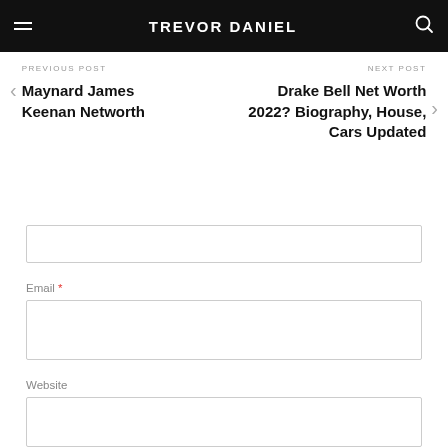TREVOR DANIEL
PREVIOUS POST
Maynard James Keenan Networth
NEXT POST
Drake Bell Net Worth 2022? Biography, House, Cars Updated
Email *
Website